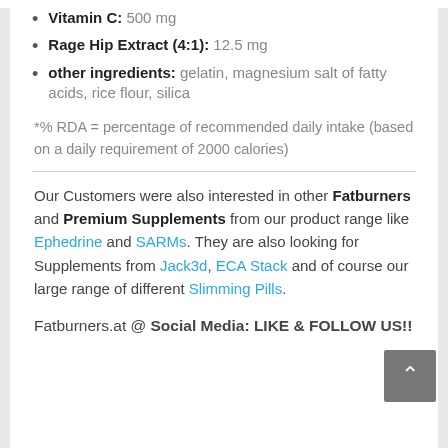Vitamin C: 500 mg
Rage Hip Extract (4:1): 12.5 mg
other ingredients: gelatin, magnesium salt of fatty acids, rice flour, silica
*% RDA = percentage of recommended daily intake (based on a daily requirement of 2000 calories)
Our Customers were also interested in other Fatburners and Premium Supplements from our product range like Ephedrine and SARMs. They are also looking for Supplements from Jack3d, ECA Stack and of course our large range of different Slimming Pills.
Fatburners.at @ Social Media: LIKE & FOLLOW US!!